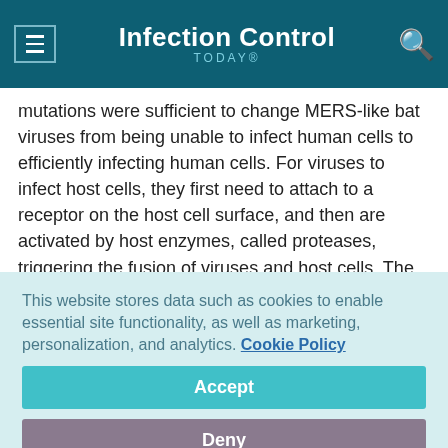Infection Control TODAY®
mutations were sufficient to change MERS-like bat viruses from being unable to infect human cells to efficiently infecting human cells. For viruses to infect host cells, they first need to attach to a receptor on the host cell surface, and then are activated by host enzymes, called proteases, triggering the fusion of viruses and host cells. The two mutations in MERS virus allowed the virus to be activated by human proteases, and hence played a critical role in the bat-to-human transmission of MERS virus.
This website stores data such as cookies to enable essential site functionality, as well as marketing, personalization, and analytics. Cookie Policy
Accept
Deny